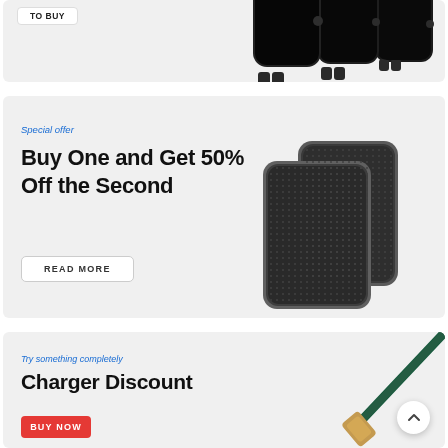[Figure (photo): Partial card showing smartwatches (three black Apple Watch-style devices) on a light gray background with a white button top-left (partially visible).]
Special offer
Buy One and Get 50% Off the Second
READ MORE
[Figure (photo): Two dark gray/black textured Bluetooth speakers on a light gray background.]
Try something completely
Charger Discount
BUY NOW
[Figure (photo): A charging cable with a teal/dark green braided cord and gold metallic connector tip on a light gray background.]